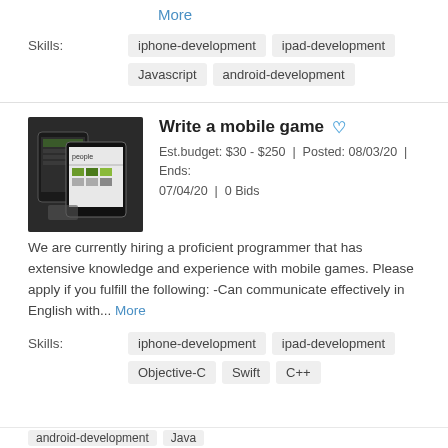More
Skills: iphone-development  ipad-development  Javascript  android-development
Write a mobile game
Est.budget: $30 - $250  |  Posted: 08/03/20  |  Ends: 07/04/20  |  0 Bids
We are currently hiring a proficient programmer that has extensive knowledge and experience with mobile games. Please apply if you fulfill the following: -Can communicate effectively in English with... More
Skills: iphone-development  ipad-development  Objective-C  Swift  C++  android-development  Java